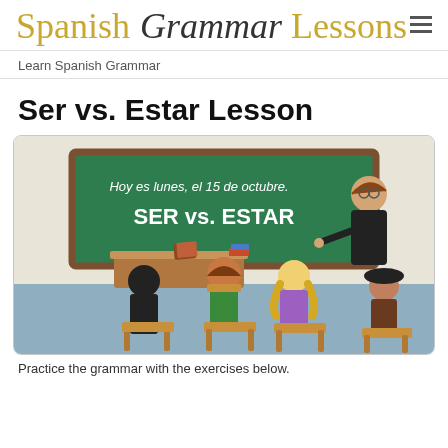Spanish Grammar Lessons
Learn Spanish Grammar
Ser vs. Estar Lesson
[Figure (illustration): Cartoon classroom scene showing a teacher pointing to a green chalkboard that reads 'Hoy es lunes, el 15 de octubre.' and 'SER vs. ESTAR'. Four cartoon students are seated at desks with their backs to the viewer.]
Practice the grammar with the exercises below.